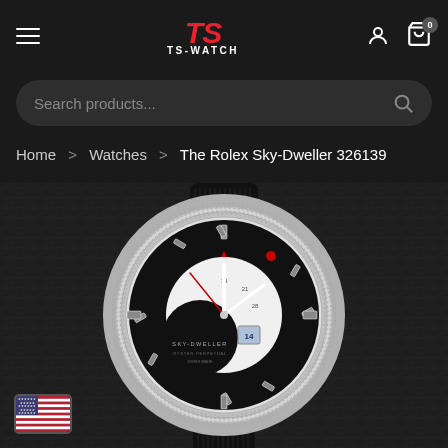TS-WATCH
Search products...
Home > Watches > The Rolex Sky-Dweller 326139
[Figure (photo): Rolex Sky-Dweller 326139 watch with black dial, white gold fluted bezel, and black crocodile leather strap, displayed on dark leather background. US flag badge visible in bottom left corner.]